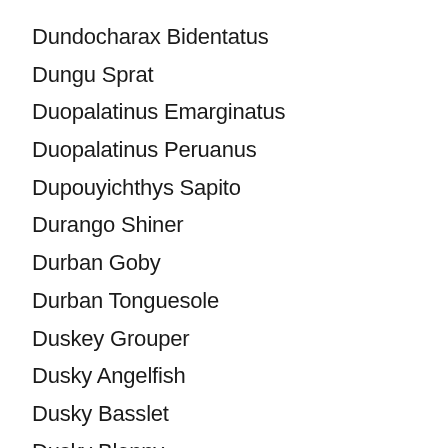Dundocharax Bidentatus
Dungu Sprat
Duopalatinus Emarginatus
Duopalatinus Peruanus
Dupouyichthys Sapito
Durango Shiner
Durban Goby
Durban Tonguesole
Duskey Grouper
Dusky Angelfish
Dusky Basslet
Dusky Blenny
Dusky Brotula
Dusky Brotulid